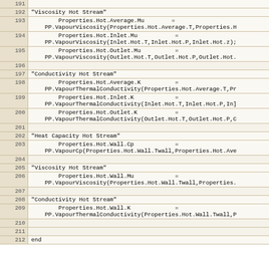Code listing lines 191-212 showing heat exchanger property calculations in a scripting/simulation language
| Line | Code |
| --- | --- |
| 191 |  |
| 192 | "Viscosity Hot Stream" |
| 193 |         Properties.Hot.Average.Mu        =
    PP.VapourViscosity(Properties.Hot.Average.T,Properties.H |
| 194 |         Properties.Hot.Inlet.Mu           =
    PP.VapourViscosity(Inlet.Hot.T,Inlet.Hot.P,Inlet.Hot.z); |
| 195 |         Properties.Hot.Outlet.Mu          =
    PP.VapourViscosity(Outlet.Hot.T,Outlet.Hot.P,Outlet.Hot. |
| 196 |  |
| 197 | "Conductivity Hot Stream" |
| 198 |         Properties.Hot.Average.K          =
    PP.VapourThermalConductivity(Properties.Hot.Average.T,Pr |
| 199 |         Properties.Hot.Inlet.K            =
    PP.VapourThermalConductivity(Inlet.Hot.T,Inlet.Hot.P,In] |
| 200 |         Properties.Hot.Outlet.K           =
    PP.VapourThermalConductivity(Outlet.Hot.T,Outlet.Hot.P,C |
| 201 |  |
| 202 | "Heat Capacity Hot Stream" |
| 203 |         Properties.Hot.Wall.Cp            =
    PP.VapourCp(Properties.Hot.Wall.Twall,Properties.Hot.Ave |
| 204 |  |
| 205 | "Viscosity Hot Stream" |
| 206 |         Properties.Hot.Wall.Mu            =
    PP.VapourViscosity(Properties.Hot.Wall.Twall,Properties. |
| 207 |  |
| 208 | "Conductivity Hot Stream" |
| 209 |         Properties.Hot.Wall.K             =
    PP.VapourThermalConductivity(Properties.Hot.Wall.Twall,P |
| 210 |  |
| 211 |  |
| 212 | end |